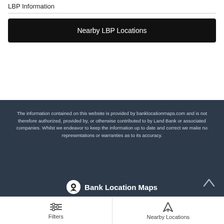LBP Information
Nearby LBP Locations
The information contained on this website is provided by banklocationmaps.com and is not therefore authorized, provided by, or otherwise contributed to by Land Bank or associated companies. Whilst we endeavor to keep the information up to date and correct we make no representations or warranties as to its accuracy.
Bank Location Maps
Filters | Nearby Locations